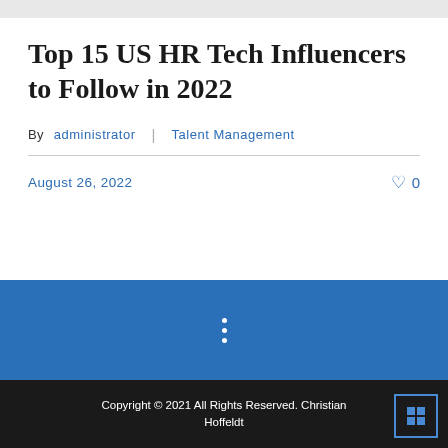Top 15 US HR Tech Influencers to Follow in 2022
By administrator | Talent Management
August 26, 2022   ♡ 0
Copyright © 2021 All Rights Reserved. Christian Hoffeldt